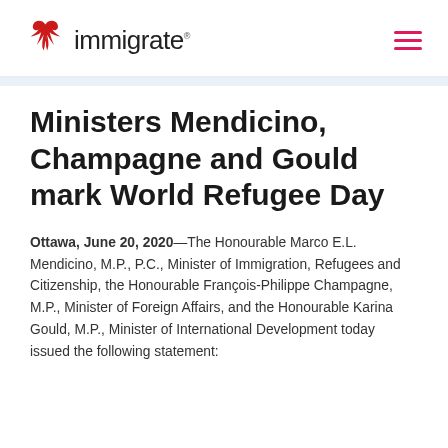immigrate
Ministers Mendicino, Champagne and Gould mark World Refugee Day
Ottawa, June 20, 2020—The Honourable Marco E.L. Mendicino, M.P., P.C., Minister of Immigration, Refugees and Citizenship, the Honourable François-Philippe Champagne, M.P., Minister of Foreign Affairs, and the Honourable Karina Gould, M.P., Minister of International Development today issued the following statement: